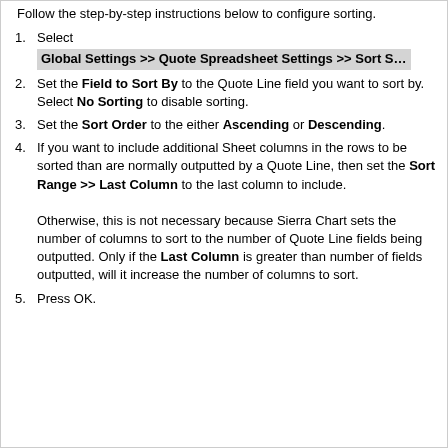Follow the step-by-step instructions below to configure sorting.
Select Global Settings >> Quote Spreadsheet Settings >> Sort S…
Set the Field to Sort By to the Quote Line field you want to sort by. Select No Sorting to disable sorting.
Set the Sort Order to the either Ascending or Descending.
If you want to include additional Sheet columns in the rows to be sorted than are normally outputted by a Quote Line, then set the Sort Range >> Last Column to the last column to include. Otherwise, this is not necessary because Sierra Chart sets the number of columns to sort to the number of Quote Line fields being outputted. Only if the Last Column is greater than number of fields outputted, will it increase the number of columns to sort.
Press OK.